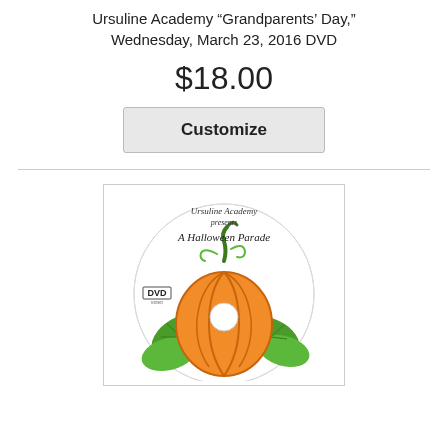Ursuline Academy “Grandparents’ Day,” Wednesday, March 23, 2016 DVD
$18.00
Customize
[Figure (illustration): DVD disc artwork for Ursuline Academy presents A Halloween Parade, featuring a pumpkin with green leaves and vines, with the DVD logo on the left side of the disc.]